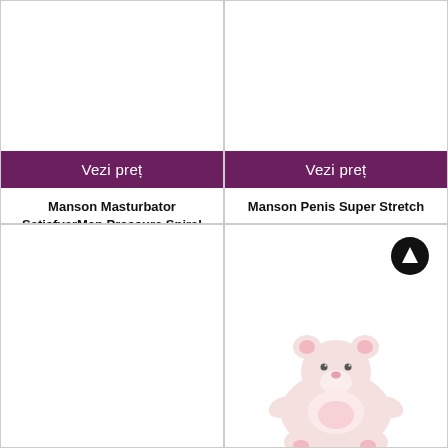[Figure (other): Product card top-left: white background product image area (empty/white)]
Vezi preț
Manson Masturbator SatisfyerMen Pressure Spiral
[Figure (other): Product card top-right: white background product image area (empty/white)]
Vezi preț
Manson Penis Super Stretch
[Figure (other): Product card bottom-left: white background product image area (empty/white)]
[Figure (photo): Product card bottom-right: pink/white plush or toy product image with an upload/scroll-up arrow icon overlaid in top-right of image]